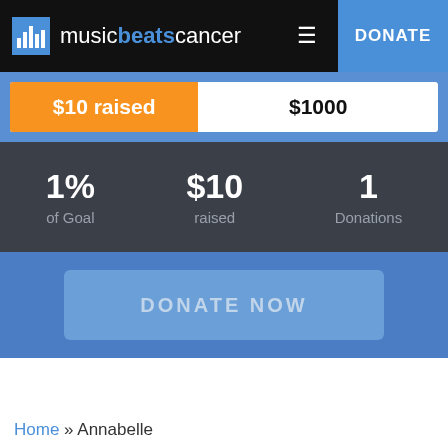music beats cancer — DONATE
[Figure (infographic): Progress bar showing $10 raised out of $1000 goal, approximately 1% filled in orange]
1% of Goal
$10 raised
1 Donations
DONATE NOW
Home » Annabelle